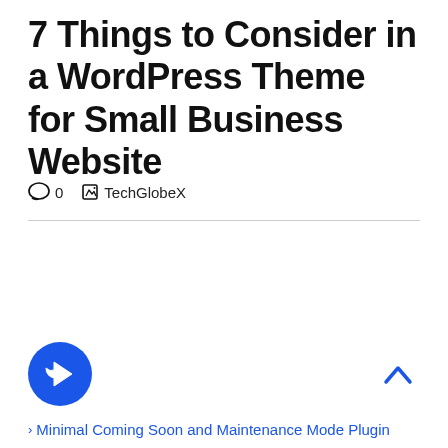7 Things to Consider in a WordPress Theme for Small Business Website
0  TechGlobeX
Minimal Coming Soon and Maintenance Mode Plugin